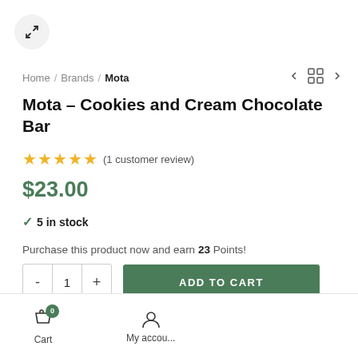[Figure (other): Expand/fullscreen button icon (arrows pointing outward) in a circular button]
Home / Brands / Mota
Mota – Cookies and Cream Chocolate Bar
★★★★★ (1 customer review)
$23.00
✓ 5 in stock
Purchase this product now and earn 23 Points!
- 1 + ADD TO CART
Cart
My accou...